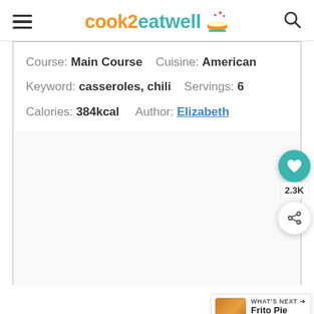cook2eatwell
Course: Main Course  Cuisine: American  Keyword: casseroles, chili  Servings: 6  Calories: 384kcal  Author: Elizabeth
[Figure (other): Floating heart/favorite button (teal circle with heart icon) with 2.3K count and share button below]
[Figure (other): What's Next banner showing Frito Pie Casserole with food thumbnail image]